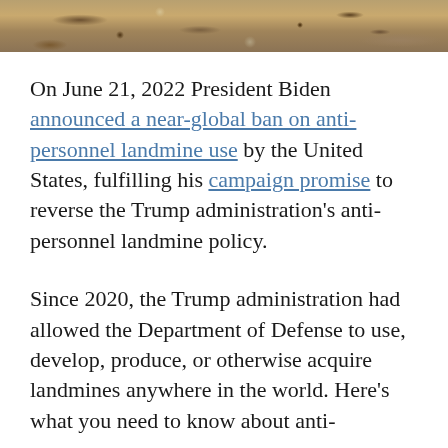[Figure (photo): Close-up photo of sandy/rocky ground, earth and gravel texture, brownish tones]
On June 21, 2022 President Biden announced a near-global ban on anti-personnel landmine use by the United States, fulfilling his campaign promise to reverse the Trump administration's anti-personnel landmine policy.
Since 2020, the Trump administration had allowed the Department of Defense to use, develop, produce, or otherwise acquire landmines anywhere in the world. Here's what you need to know about anti-